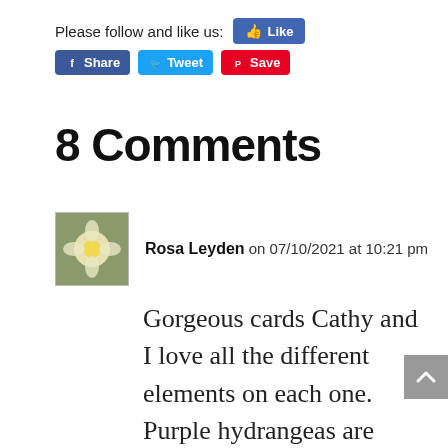Please follow and like us: [Like] [Share] [Tweet] [Save]
8 Comments
Rosa Leyden on 07/10/2021 at 10:21 pm
Gorgeous cards Cathy and I love all the different elements on each one. Purple hydrangeas are perfect for this colour but I like the second card by a smidge because of the beautiful bow, splatters and sentiment on the